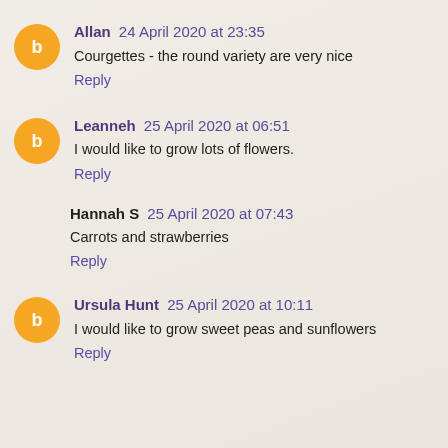Allan 24 April 2020 at 23:35
Courgettes - the round variety are very nice
Reply
Leanneh 25 April 2020 at 06:51
I would like to grow lots of flowers.
Reply
Hannah S 25 April 2020 at 07:43
Carrots and strawberries
Reply
Ursula Hunt 25 April 2020 at 10:11
I would like to grow sweet peas and sunflowers
Reply